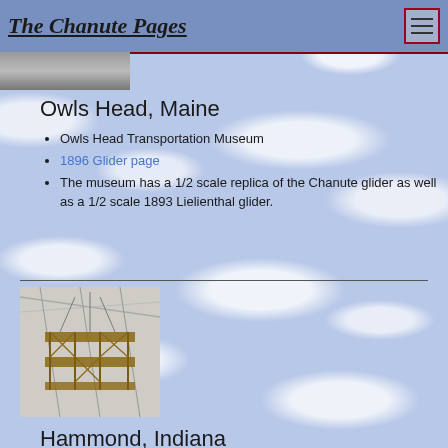The Chanute Pages
[Figure (photo): Top portion of a photograph (partially visible at top of page)]
Owls Head, Maine
Owls Head Transportation Museum
1896 Glider page
The museum has a 1/2 scale replica of the Chanute glider as well as a 1/2 scale 1893 Lielienthal glider.
[Figure (photo): Photo of a glider replica hanging from a ceiling in a museum, showing wooden frame structure]
Hammond, Indiana
The Indiana South Shore Visitor's Welcome Center
Visitor's Center Website
Located at the intersection of I80/94 and Kennedy Ave.
Image courtest of Pete Doherty
[Figure (photo): Bottom portion of another photograph visible at very bottom of page]